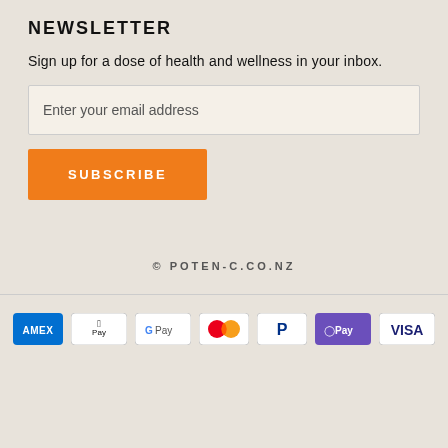NEWSLETTER
Sign up for a dose of health and wellness in your inbox.
Enter your email address
SUBSCRIBE
© POTEN-C.CO.NZ
[Figure (other): Payment method icons: AMEX, Apple Pay, Google Pay, Mastercard, PayPal, OPay, VISA]